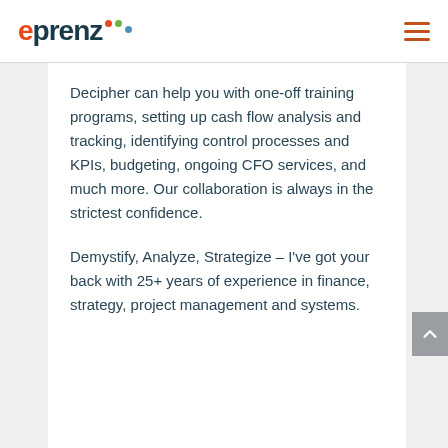eprenz
Decipher can help you with one-off training programs, setting up cash flow analysis and tracking, identifying control processes and KPIs, budgeting, ongoing CFO services, and much more. Our collaboration is always in the strictest confidence.
Demystify, Analyze, Strategize – I've got your back with 25+ years of experience in finance, strategy, project management and systems.